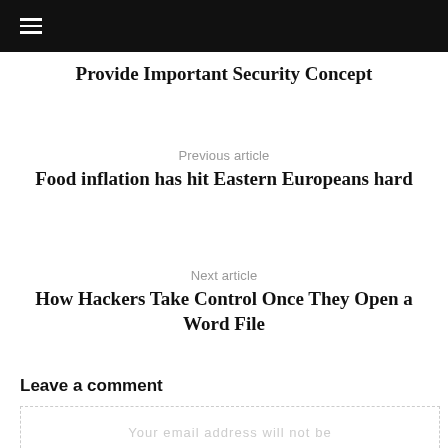Provide Important Security Concept
Previous article
Food inflation has hit Eastern Europeans hard
Next article
How Hackers Take Control Once They Open a Word File
Leave a comment
Your email address will not be published. Required fields are marked *